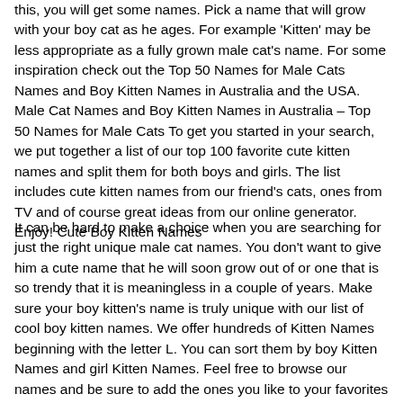this, you will get some names. Pick a name that will grow with your boy cat as he ages. For example 'Kitten' may be less appropriate as a fully grown male cat's name. For some inspiration check out the Top 50 Names for Male Cats Names and Boy Kitten Names in Australia and the USA. Male Cat Names and Boy Kitten Names in Australia – Top 50 Names for Male Cats To get you started in your search, we put together a list of our top 100 favorite cute kitten names and split them for both boys and girls. The list includes cute kitten names from our friend's cats, ones from TV and of course great ideas from our online generator. Enjoy! Cute Boy Kitten Names
It can be hard to make a choice when you are searching for just the right unique male cat names. You don't want to give him a cute name that he will soon grow out of or one that is so trendy that it is meaningless in a couple of years. Make sure your boy kitten's name is truly unique with our list of cool boy kitten names. We offer hundreds of Kitten Names beginning with the letter L. You can sort them by boy Kitten Names and girl Kitten Names. Feel free to browse our names and be sure to add the ones you like to your favorites list. If you are looking for cute cat names to go along with your new cute little kitten, then you've come to the perfect place. Cat lovers like us know that cats are not only poised and elegant animals, but lovable and adorable as well! Whether you are